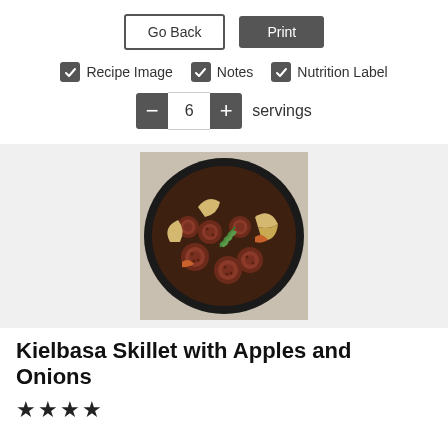[Figure (screenshot): Go Back and Print buttons, UI controls for a recipe print page]
[Figure (screenshot): Checkboxes for Recipe Image, Notes, Nutrition Label options]
[Figure (screenshot): Servings stepper control showing 6 servings with minus and plus buttons]
[Figure (photo): Photo of kielbasa skillet with apples and onions in a cast iron pan with rosemary garnish]
Kielbasa Skillet with Apples and Onions
[Figure (other): Four star rating icons (filled black stars)]